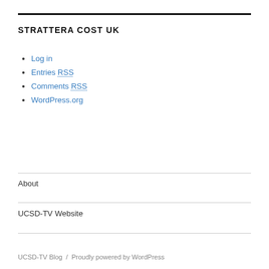STRATTERA COST UK
Log in
Entries RSS
Comments RSS
WordPress.org
About
UCSD-TV Website
UCSD-TV Blog / Proudly powered by WordPress